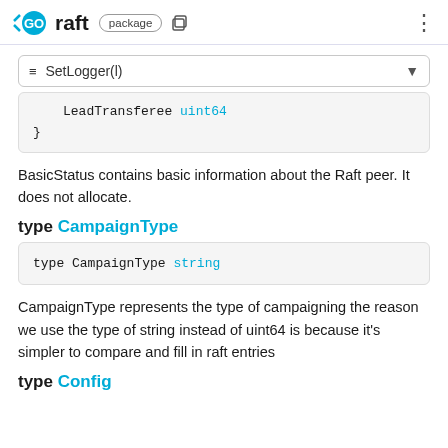GO raft package
≡ SetLogger(l)
LeadTransferee uint64
}
BasicStatus contains basic information about the Raft peer. It does not allocate.
type CampaignType
type CampaignType string
CampaignType represents the type of campaigning the reason we use the type of string instead of uint64 is because it's simpler to compare and fill in raft entries
type Config